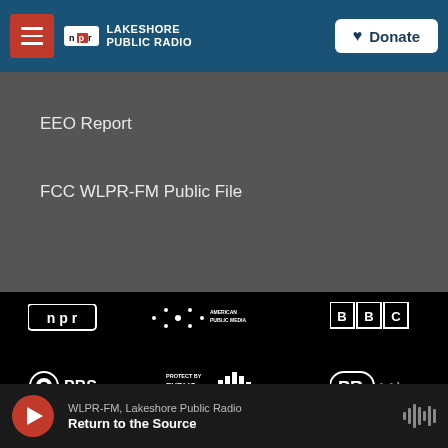[Figure (logo): Lakeshore Public Radio header with NPR logo, menu button, and Donate button]
EEO Report
FCC WLPR-FM Public File
[Figure (logo): Footer logos: NPR, American Public Media, BBC, PBS, Protect by Public Media, PRX, Indiana Public Broadcasting Stations]
WLPR-FM, Lakeshore Public Radio — Return to the Source (player bar)